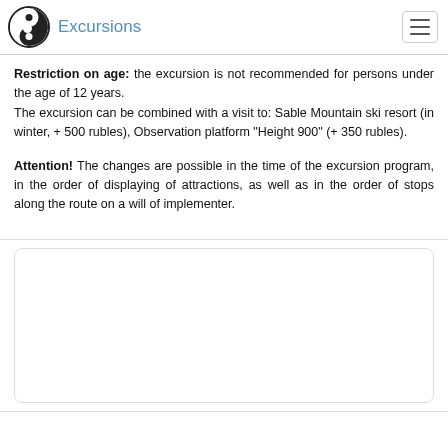Excursions
Restriction on age: the excursion is not recommended for persons under the age of 12 years.
The excursion can be combined with a visit to: Sable Mountain ski resort (in winter, + 500 rubles), Observation platform "Height 900" (+ 350 rubles).
Attention! The changes are possible in the time of the excursion program, in the order of displaying of attractions, as well as in the order of stops along the route on a will of implementer.
[Figure (other): White empty rectangular placeholder box with rounded corners and light border]